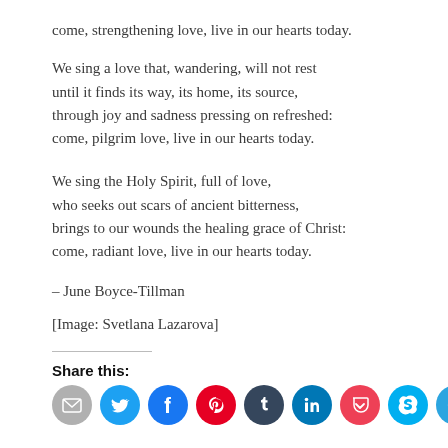come, strengthening love, live in our hearts today.
We sing a love that, wandering, will not rest
until it finds its way, its home, its source,
through joy and sadness pressing on refreshed:
come, pilgrim love, live in our hearts today.
We sing the Holy Spirit, full of love,
who seeks out scars of ancient bitterness,
brings to our wounds the healing grace of Christ:
come, radiant love, live in our hearts today.
– June Boyce-Tillman
[Image: Svetlana Lazarova]
Share this:
[Figure (infographic): Row of social media share icon circles: email (grey), Twitter (blue), Facebook (blue), Pinterest (red), Tumblr (dark navy), LinkedIn (blue), Pocket (red), Skype (light blue), Telegram (blue), WhatsApp (green)]